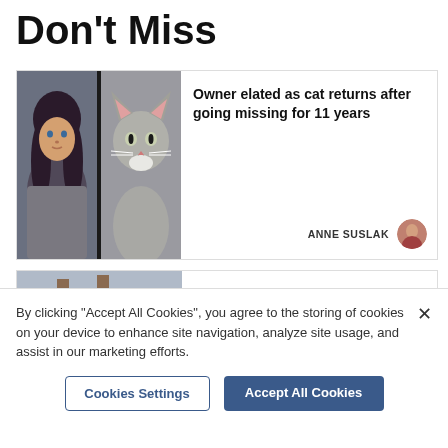Don't Miss
[Figure (photo): Two-photo thumbnail: woman with dark hair on left, grey tabby cat on right]
Owner elated as cat returns after going missing for 11 years
ANNE SUSLAK
[Figure (photo): Photo of a brick building with an orange market stall tent in front]
Street Food Heroes return to Royston
By clicking "Accept All Cookies", you agree to the storing of cookies on your device to enhance site navigation, analyze site usage, and assist in our marketing efforts.
Cookies Settings
Accept All Cookies